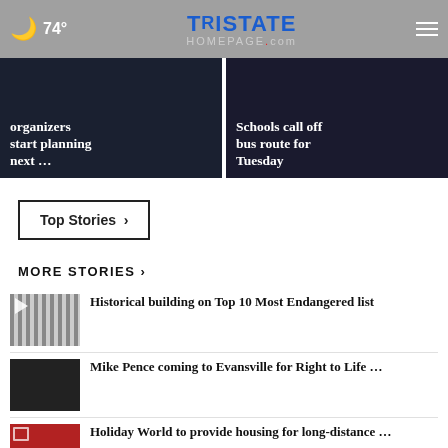74° Tristate Homepage.com
[Figure (screenshot): Hero news card: organizers start planning next ...]
[Figure (screenshot): Hero news card: Schools call off bus route for Tuesday]
Top Stories ›
MORE STORIES ›
Historical building on Top 10 Most Endangered list
Mike Pence coming to Evansville for Right to Life …
Holiday World to provide housing for long-distance …